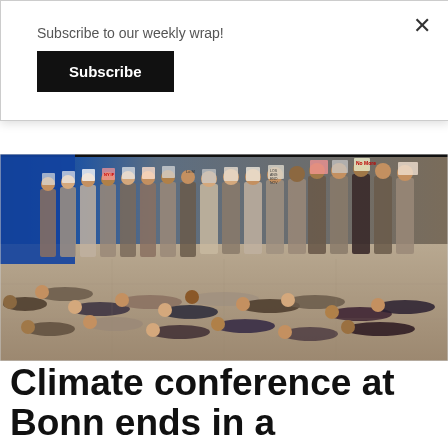Subscribe to our weekly wrap!
Subscribe
[Figure (photo): Group of climate activists inside a conference hall, some lying on the floor in a 'die-in' protest, others standing and holding signs including 'No More', 'Loss & Damage Now', and other climate-related messages. Participants wear masks.]
Climate conference at Bonn ends in a